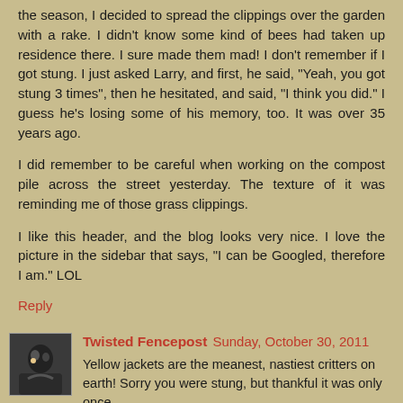the season, I decided to spread the clippings over the garden with a rake. I didn't know some kind of bees had taken up residence there. I sure made them mad! I don't remember if I got stung. I just asked Larry, and first, he said, "Yeah, you got stung 3 times", then he hesitated, and said, "I think you did." I guess he's losing some of his memory, too. It was over 35 years ago.
I did remember to be careful when working on the compost pile across the street yesterday. The texture of it was reminding me of those grass clippings.
I like this header, and the blog looks very nice. I love the picture in the sidebar that says, "I can be Googled, therefore I am." LOL
Reply
Twisted Fencepost Sunday, October 30, 2011
Yellow jackets are the meanest, nastiest critters on earth! Sorry you were stung, but thankful it was only once.